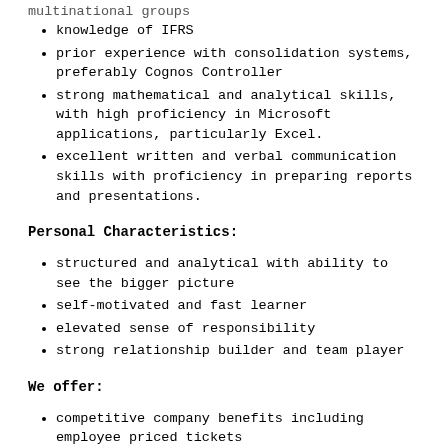knowledge of IFRS
prior experience with consolidation systems, preferably Cognos Controller
strong mathematical and analytical skills, with high proficiency in Microsoft applications, particularly Excel.
excellent written and verbal communication skills with proficiency in preparing reports and presentations.
Personal Characteristics:
structured and analytical with ability to see the bigger picture
self-motivated and fast learner
elevated sense of responsibility
strong relationship builder and team player
We offer:
competitive company benefits including employee priced tickets